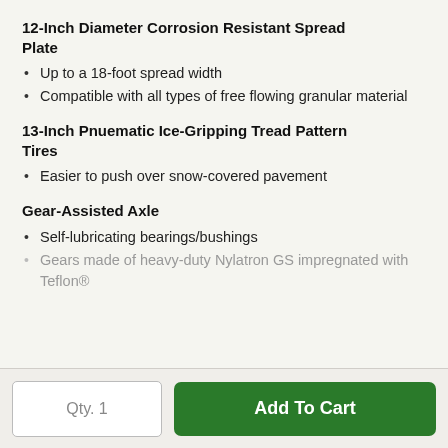12-Inch Diameter Corrosion Resistant Spread Plate
Up to a 18-foot spread width
Compatible with all types of free flowing granular material
13-Inch Pnuematic Ice-Gripping Tread Pattern Tires
Easier to push over snow-covered pavement
Gear-Assisted Axle
Self-lubricating bearings/bushings
Gears made of heavy-duty Nylatron GS impregnated with Teflon®
Qty. 1
Add To Cart